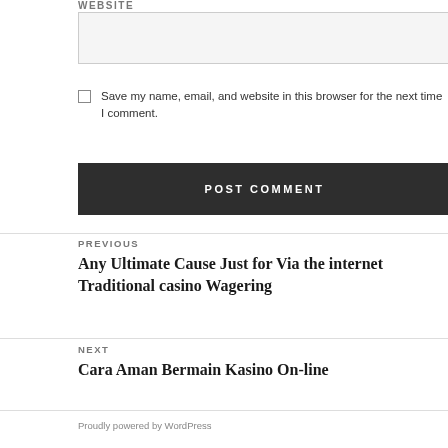WEBSITE
Save my name, email, and website in this browser for the next time I comment.
POST COMMENT
PREVIOUS
Any Ultimate Cause Just for Via the internet Traditional casino Wagering
NEXT
Cara Aman Bermain Kasino On-line
Proudly powered by WordPress